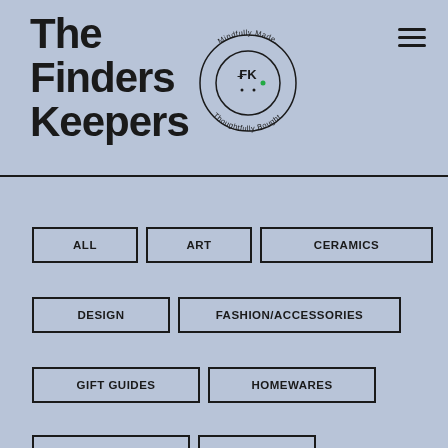The Finders Keepers
[Figure (logo): Circular logo with 'FK' monogram in center, surrounded by text 'Mindfully Made, Thoughtfully Bought.' in a circular arrangement]
ALL
ART
CERAMICS
DESIGN
FASHION/ACCESSORIES
GIFT GUIDES
HOMEWARES
JEWELLERY
KIDS
PUBLICATIONS
RESOURCES